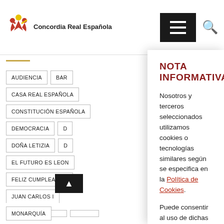[Figure (logo): Concordia Real Española logo with colorful figures and text]
AUDIENCIA
BAR
CASA REAL ESPAÑOLA
CONSTITUCIÓN ESPAÑOLA
DEMOCRACIA
D
DOÑA LETIZIA
D
EL FUTURO ES LEON
FELIZ CUMPLEAÑOS
JUAN CARLOS I
MONARQUÍA
M
NOTA INFORMATIVA
Nosotros y terceros seleccionados utilizamos cookies o tecnologías similares según se especifica en la Política de Cookies.
Puede consentir al uso de dichas tecnologías cerrando el presente aviso, interactuando con cualquier enlace o botón fuera de este aviso o continuando su navegación de cualquier otro modo.
Aceptar
Rechazar